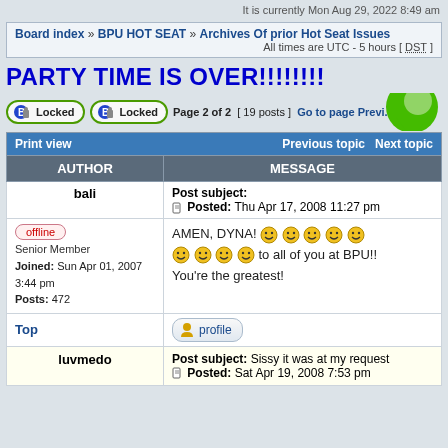It is currently Mon Aug 29, 2022 8:49 am
Board index » BPU HOT SEAT » Archives Of prior Hot Seat Issues
All times are UTC - 5 hours [ DST ]
PARTY TIME IS OVER!!!!!!!!
Locked  Locked  Page 2 of 2  [ 19 posts ]  Go to page Previ...
| AUTHOR | MESSAGE |
| --- | --- |
| bali | Post subject:
Posted: Thu Apr 17, 2008 11:27 pm |
| offline
Senior Member
Joined: Sun Apr 01, 2007 3:44 pm
Posts: 472 | AMEN, DYNA! [emojis] to all of you at BPU!!
You're the greatest! |
| Top | profile |
| luvmedo | Post subject: Sissy it was at my request
Posted: Sat Apr 19, 2008 7:53 pm |